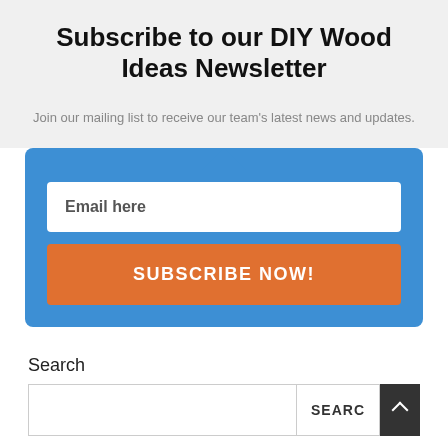Subscribe to our DIY Wood Ideas Newsletter
Join our mailing list to receive our team's latest news and updates.
[Figure (infographic): Blue subscription box with email input field, orange SUBSCRIBE NOW! button, and a downward-pointing arrow at the top connecting to the section above.]
Search
[Figure (infographic): Search bar with text input field, SEARCH button, and dark scroll-to-top button with upward arrow.]